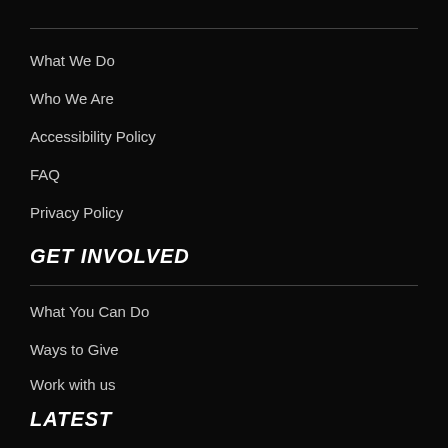What We Do
Who We Are
Accessibility Policy
FAQ
Privacy Policy
GET INVOLVED
What You Can Do
Ways to Give
Work with us
LATEST
News